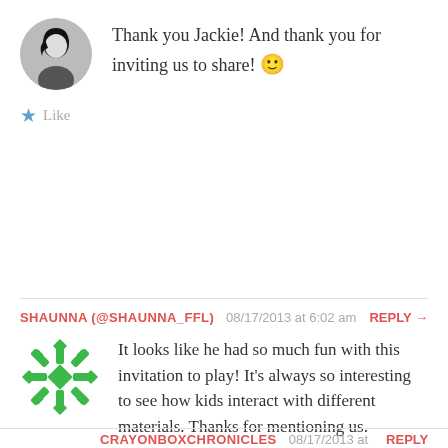Thank you Jackie! And thank you for inviting us to share! 🙂
Like
SHAUNNA (@SHAUNNA_FFL)  08/17/2013 at 6:02 am  REPLY →
It looks like he had so much fun with this invitation to play! It's always so interesting to see how kids interact with different materials. Thanks for mentioning us.
Like
CRAYONBOXCHRONICLES  08/17/2013 at 10:13 am  REPLY →